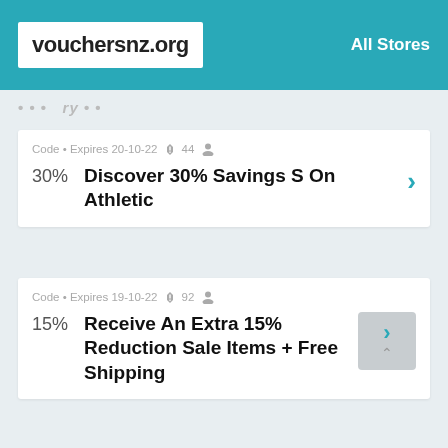vouchersnz.org  All Stores
Code • Expires 20-10-22 🔔 44 👤
30%  Discover 30% Savings S On Athletic
Code • Expires 19-10-22 🔔 92 👤
15%  Receive An Extra 15% Reduction Sale Items + Free Shipping